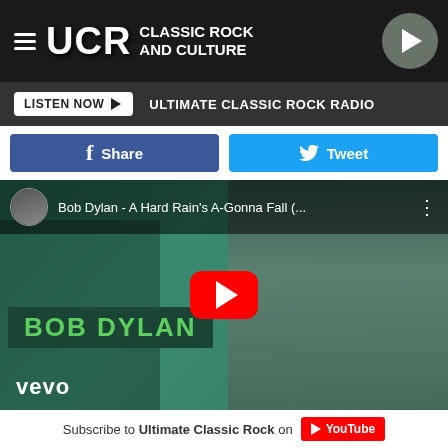UCR Classic Rock and Culture
LISTEN NOW  ULTIMATE CLASSIC ROCK RADIO
Share   Tweet
[Figure (screenshot): YouTube video embed showing Bob Dylan - A Hard Rain's A-Gonna Fall with red play button, Bob Dylan text overlay in green on dark teal background, vevo logo at bottom left]
Subscribe to Ultimate Classic Rock on YouTube